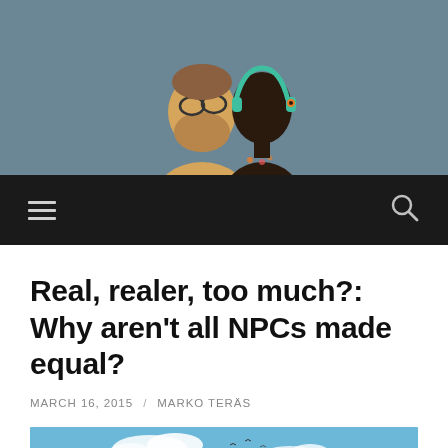[Figure (illustration): Website banner header with two illustrated characters (a bearded man with glasses and a dark-skinned woman with headphones) on a muted blue-grey background.]
[Figure (screenshot): Dark navigation bar with a hamburger menu icon on the left and a search (magnifying glass) icon on the right.]
Real, realer, too much?: Why aren't all NPCs made equal?
MARCH 16, 2015 / MARKO TERÄS
[Figure (screenshot): In-game screenshot of a tropical island scene with mountains, palm trees, blue sky with clouds, and a vehicle with a character in the foreground.]